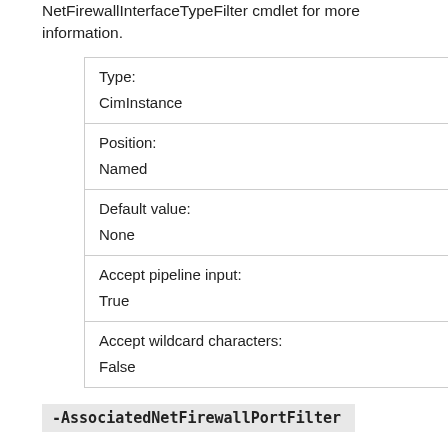NetFirewallInterfaceTypeFilter cmdlet for more information.
| Type: | CimInstance |
| Position: | Named |
| Default value: | None |
| Accept pipeline input: | True |
| Accept wildcard characters: | False |
-AssociatedNetFirewallPortFilter